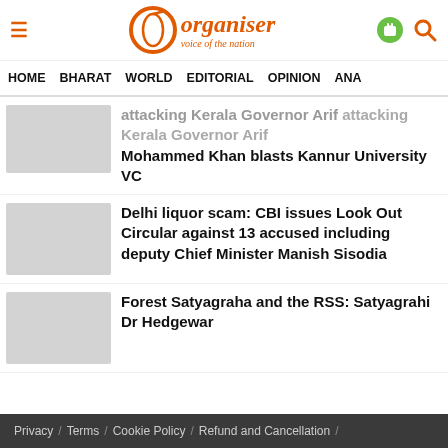Organiser — Voice of the Nation
HOME   BHARAT   WORLD   EDITORIAL   OPINION   ANA
attacking Kerala Governor Arif Mohammed Khan blasts Kannur University VC
Delhi liquor scam: CBI issues Look Out Circular against 13 accused including deputy Chief Minister Manish Sisodia
Forest Satyagraha and the RSS: Satyagrahi Dr Hedgewar
Privacy / Terms / Cookie Policy / Refund and Cancellation /